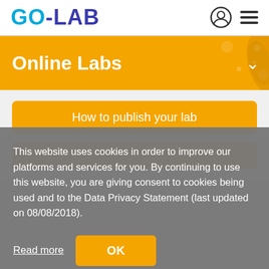GO-LAB
Online Labs
How to publish your lab
This website uses cookies in order to improve our platforms and services for you. By continuing to use this website, you are giving consent to cookies being used and to the Data Privacy Statement (last updated on 08/08/2018).
Read more
OK